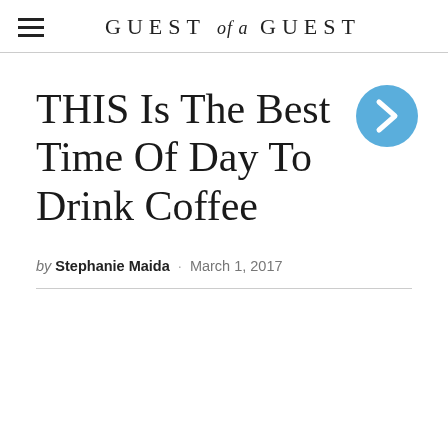GUEST of a GUEST
THIS Is The Best Time Of Day To Drink Coffee
by Stephanie Maida · March 1, 2017